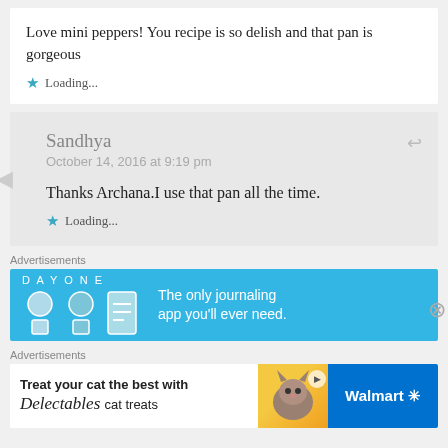Love mini peppers! You recipe is so delish and that pan is gorgeous
★ Loading...
Sandhya
October 14, 2016 at 9:19 pm
Thanks Archana.I use that pan all the time.
★ Loading...
Advertisements
[Figure (infographic): Day One app advertisement: blue background with app icons and text 'DAY ONE - The only journaling app you'll ever need.']
Advertisements
[Figure (infographic): Walmart advertisement: 'Treat your cat the best with Delectables cat treats' with cat image and Walmart logo on red background]